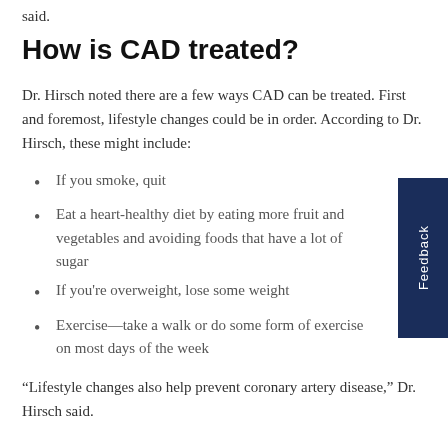said.
How is CAD treated?
Dr. Hirsch noted there are a few ways CAD can be treated. First and foremost, lifestyle changes could be in order. According to Dr. Hirsch, these might include:
If you smoke, quit
Eat a heart-healthy diet by eating more fruit and vegetables and avoiding foods that have a lot of sugar
If you're overweight, lose some weight
Exercise—take a walk or do some form of exercise on most days of the week
“Lifestyle changes also help prevent coronary artery disease,” Dr. Hirsch said.